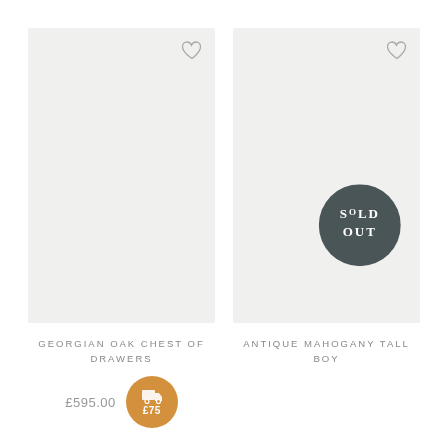[Figure (photo): Product image placeholder for Georgian Oak Chest of Drawers, light grey background with heart/wishlist icon in top right corner]
GEORGIAN OAK CHEST OF DRAWERS
£595.00
[Figure (infographic): Orange circular delivery badge showing truck icon and £75 delivery cost]
[Figure (photo): Product image placeholder for Antique Mahogany Tall Boy, light grey background with heart/wishlist icon in top right corner and dark grey SOLD OUT circular badge overlay]
ANTIQUE MAHOGANY TALL BOY